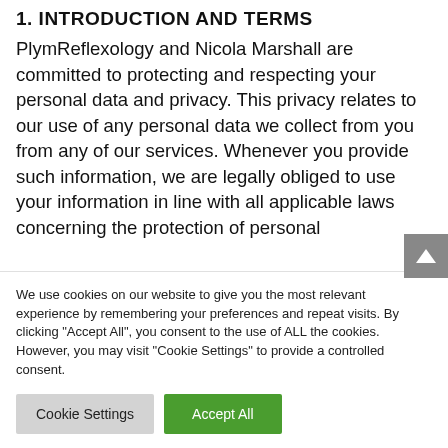1. INTRODUCTION AND TERMS
PlymReflexology and Nicola Marshall are committed to protecting and respecting your personal data and privacy. This privacy relates to our use of any personal data we collect from you from any of our services. Whenever you provide such information, we are legally obliged to use your information in line with all applicable laws concerning the protection of personal
We use cookies on our website to give you the most relevant experience by remembering your preferences and repeat visits. By clicking "Accept All", you consent to the use of ALL the cookies. However, you may visit "Cookie Settings" to provide a controlled consent.